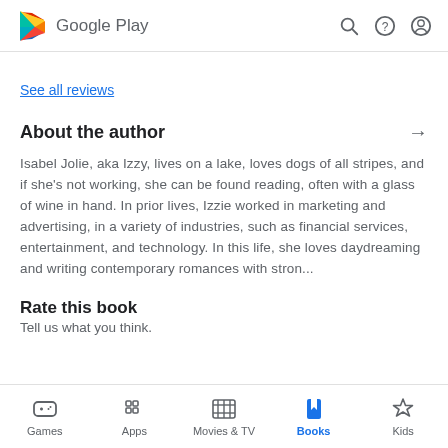Google Play
See all reviews
About the author →
Isabel Jolie, aka Izzy, lives on a lake, loves dogs of all stripes, and if she's not working, she can be found reading, often with a glass of wine in hand. In prior lives, Izzie worked in marketing and advertising, in a variety of industries, such as financial services, entertainment, and technology. In this life, she loves daydreaming and writing contemporary romances with stron...
Rate this book
Tell us what you think.
Games  Apps  Movies & TV  Books  Kids